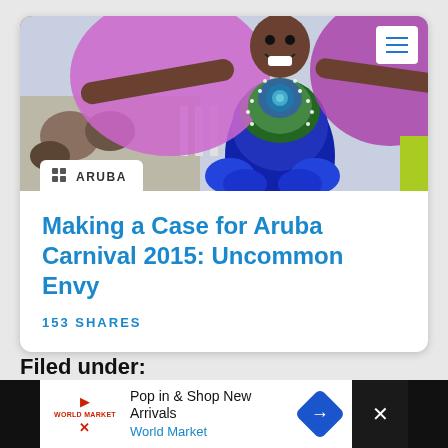[Figure (photo): Carnival performer in colorful costume with feathers and beaded outfit, arms outstretched, smiling widely, crowd in background]
ARUBA
Making a Case for Aruba Carnival 2015: Uncommon Envy
153 SHARES
Filed under:
Pop in & Shop New Arrivals World Market